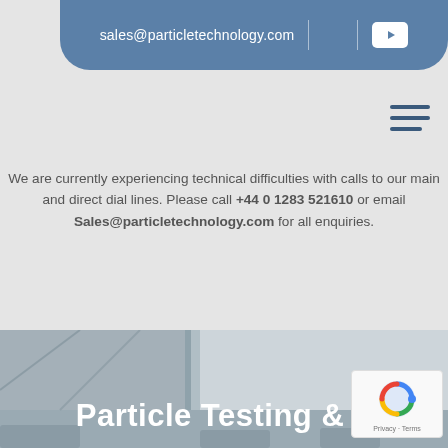sales@particletechnology.com
We are currently experiencing technical difficulties with calls to our main and direct dial lines. Please call +44 0 1283 521610 or email Sales@particletechnology.com for all enquiries.
[Figure (photo): Interior photo of a facility with structural columns, partially visible, grayed-out industrial setting]
Particle Testing &